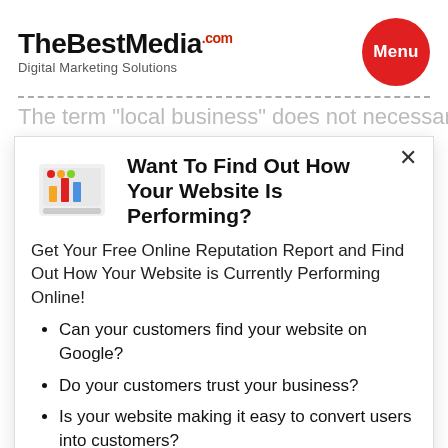TheBestMedia.com Digital Marketing Solutions
The term "local business" does not necessarily
Want To Find Out How Your Website Is Performing?
Get Your Free Online Reputation Report and Find Out How Your Website is Currently Performing Online!
Can your customers find your website on Google?
Do your customers trust your business?
Is your website making it easy to convert users into customers?
What your competitors are the b...